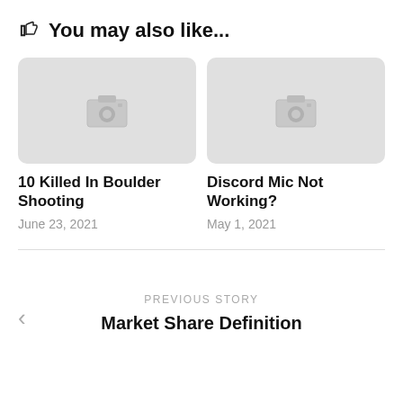👍 You may also like...
[Figure (photo): Placeholder image card for '10 Killed In Boulder Shooting' with grey background and camera icon]
10 Killed In Boulder Shooting
June 23, 2021
[Figure (photo): Placeholder image card for 'Discord Mic Not Working?' with grey background and camera icon]
Discord Mic Not Working?
May 1, 2021
PREVIOUS STORY
Market Share Definition